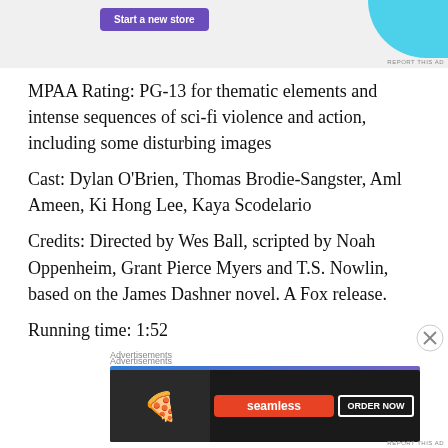[Figure (screenshot): Top advertisement banner with purple 'Start a new store' button and cyan/teal decorative shape]
MPAA Rating: PG-13 for thematic elements and intense sequences of sci-fi violence and action, including some disturbing images
Cast: Dylan O'Brien, Thomas Brodie-Sangster, Aml Ameen, Ki Hong Lee, Kaya Scodelario
Credits: Directed by Wes Ball, scripted by Noah Oppenheim, Grant Pierce Myers and T.S. Nowlin, based on the James Dashner novel. A Fox release.
Running time: 1:52
Advertisements
[Figure (screenshot): Middle advertisement banner with blue-purple gradient background and large white text]
Advertisements
[Figure (screenshot): Bottom advertisement for Seamless food delivery showing pizza image, Seamless logo, and ORDER NOW button]